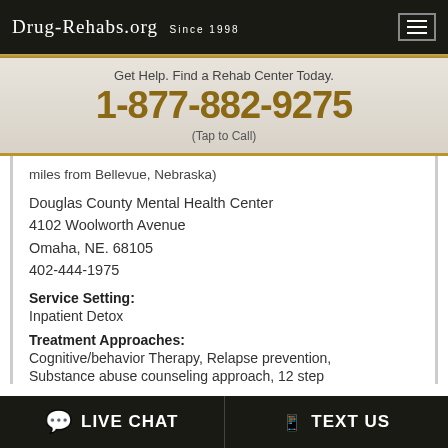DRUG-REHABS.ORG SINCE 1998
Get Help. Find a Rehab Center Today.
1-877-882-9275
(Tap to Call)
miles from Bellevue, Nebraska)
Douglas County Mental Health Center
4102 Woolworth Avenue
Omaha, NE. 68105
402-444-1975
Service Setting:
Inpatient Detox
Treatment Approaches:
Cognitive/behavior Therapy, Relapse prevention,
Substance abuse counseling approach, 12 step
LIVE CHAT   TEXT US